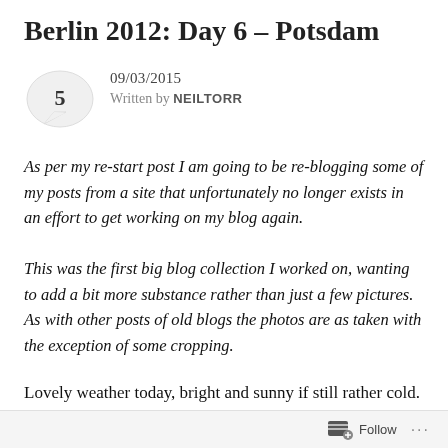Berlin 2012: Day 6 – Potsdam
09/03/2015
Written by NEILTORR
As per my re-start post I am going to be re-blogging some of my posts from a site that unfortunately no longer exists in an effort to get working on my blog again.
This was the first big blog collection I worked on, wanting to add a bit more substance rather than just a few pictures. As with other posts of old blogs the photos are as taken with the exception of some cropping.
Lovely weather today, bright and sunny if still rather cold. Today was the day to go to Potsdam though we
Follow ...